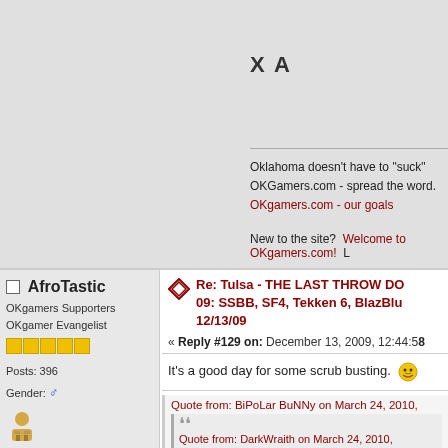X A
Oklahoma doesn't have to "suck"
OKGamers.com - spread the word.
OKgamers.com - our goals

New to the site?  Welcome to OKgamers.com!
AfroTastic
OKgamers Supporters
OKgamer Evangelist
Posts: 396
Gender: Male
Re: Tulsa - THE LAST THROW DOWN 09: SSBB, SF4, Tekken 6, BlazBlu 12/13/09
« Reply #129 on: December 13, 2009, 12:44:58
It's a good day for some scrub busting.
Quote from: BiPoLar BuNNy on March 24, 2010,
Quote from: DarkWraith on March 24, 2010,
Quote from: BiPoLar BuNNy on March 24,